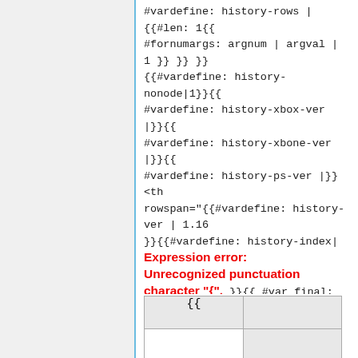#vardefine: history-rows | {{#len: 1{{ #fornumargs: argnum | argval | 1 }} }} }}{{#vardefine: history-nonode|1}}{{#vardefine: history-xbox-ver |}}{{#vardefine: history-xbone-ver |}}{{#vardefine: history-ps-ver |}}<th rowspan="{{#vardefine: history-ver | 1.16 }}{{#vardefine: history-index| Expression error: Unrecognized punctuation character "{". }}{{ #var_final: history-rowspan-{{#var: history-index}} }}" colspan="2">Template:Version link{{ #fornumargs: argnum | argval | }}
| {{ |  |
| --- | --- |
|  |  |